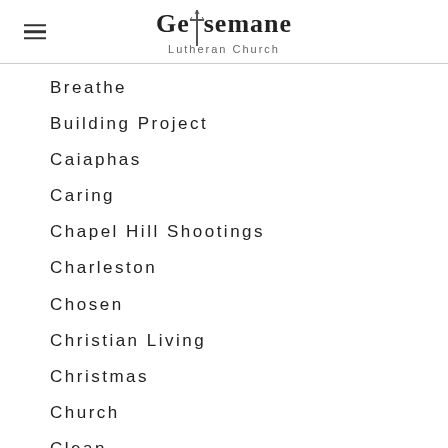Gethsemane Lutheran Church
Breathe
Building Project
Caiaphas
Caring
Chapel Hill Shootings
Charleston
Chosen
Christian Living
Christmas
Church
Clean
Combative